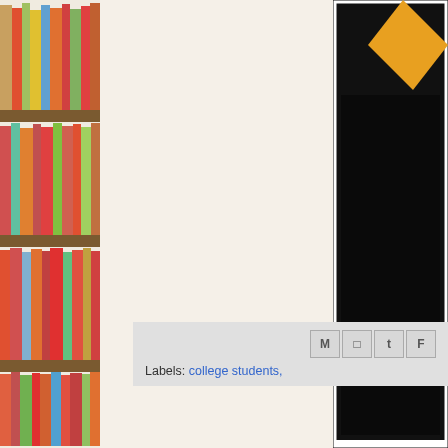[Figure (photo): A tall bookshelf filled with colorful books arranged on multiple shelves, photographed from floor to ceiling on the left side of the page.]
[Figure (photo): Partial view of a dark/black framed image with an orange/yellow diamond shape visible in the upper portion, on the right side of the page.]
Labels: college students,
[Figure (screenshot): Share bar with social media icons (M, B, t, F) and labels text showing 'Labels: college students,']